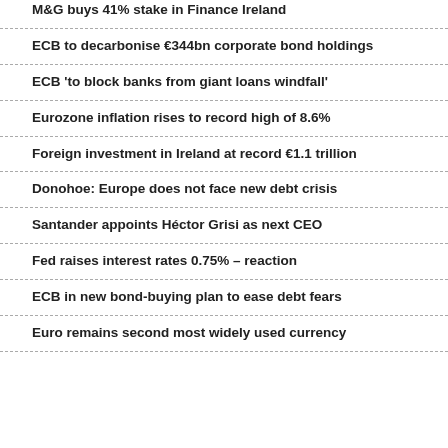M&G buys 41% stake in Finance Ireland
ECB to decarbonise €344bn corporate bond holdings
ECB 'to block banks from giant loans windfall'
Eurozone inflation rises to record high of 8.6%
Foreign investment in Ireland at record €1.1 trillion
Donohoe: Europe does not face new debt crisis
Santander appoints Héctor Grisi as next CEO
Fed raises interest rates 0.75% – reaction
ECB in new bond-buying plan to ease debt fears
Euro remains second most widely used currency